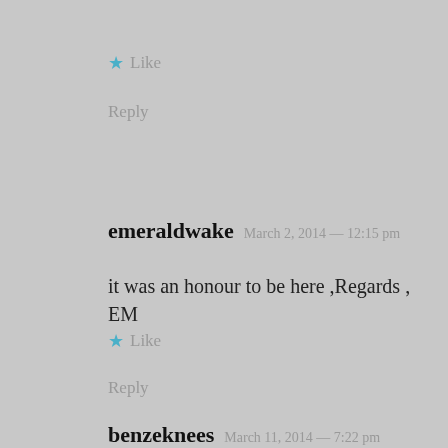★ Like
Reply
emeraldwake   March 2, 2014 — 12:15 pm
it was an honour to be here ,Regards , EM
★ Like
Reply
benzeknees   March 11, 2014 — 7:22 pm